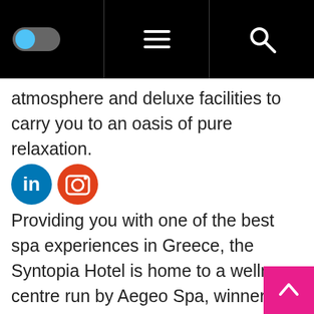[Navigation bar with toggle switch, hamburger menu, and search icon]
atmosphere and deluxe facilities to carry you to an oasis of pure relaxation.
[Figure (illustration): LinkedIn and Instagram social media icons side by side]
Providing you with one of the best spa experiences in Greece, the Syntopia Hotel is home to a wellness centre run by Aegeo Spa, winner of the best European Luxury Spa Group at the World Luxury Spa Awards 2019. 25 years of experience in the industry has enabled Aegeo Spa to make wellness unique to each individual, as they have perfected the art of tailoring every treatment to your specific needs and requests. Indeed, you are able to personalise your massages at the Syntopia to maximise their potency for you and you alone. The “tailor made” massage allows you to fully customise